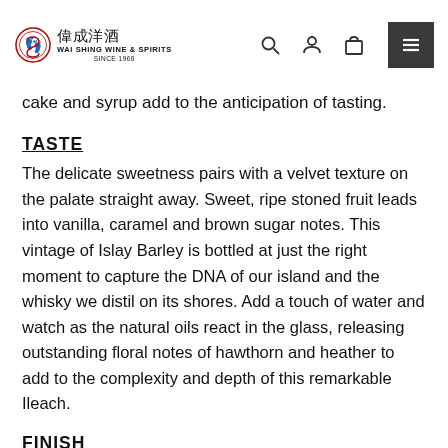Wai Shing Wine & Spirits Since 1968
cake and syrup add to the anticipation of tasting.
TASTE
The delicate sweetness pairs with a velvet texture on the palate straight away. Sweet, ripe stoned fruit leads into vanilla, caramel and brown sugar notes. This vintage of Islay Barley is bottled at just the right moment to capture the DNA of our island and the whisky we distil on its shores. Add a touch of water and watch as the natural oils react in the glass, releasing outstanding floral notes of hawthorn and heather to add to the complexity and depth of this remarkable Ileach.
FINISH
The finish is a testament to the quality of distillation. The expression of that marine tang with the sweet citrus and honeyed oaked notes tells the story of our whisky